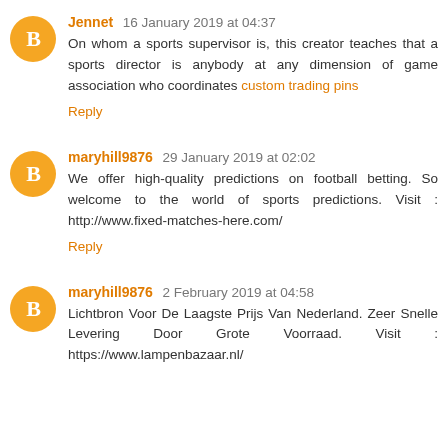Jennet 16 January 2019 at 04:37
On whom a sports supervisor is, this creator teaches that a sports director is anybody at any dimension of game association who coordinates custom trading pins
Reply
maryhill9876 29 January 2019 at 02:02
We offer high-quality predictions on football betting. So welcome to the world of sports predictions. Visit : http://www.fixed-matches-here.com/
Reply
maryhill9876 2 February 2019 at 04:58
Lichtbron Voor De Laagste Prijs Van Nederland. Zeer Snelle Levering Door Grote Voorraad. Visit : https://www.lampenbazaar.nl/